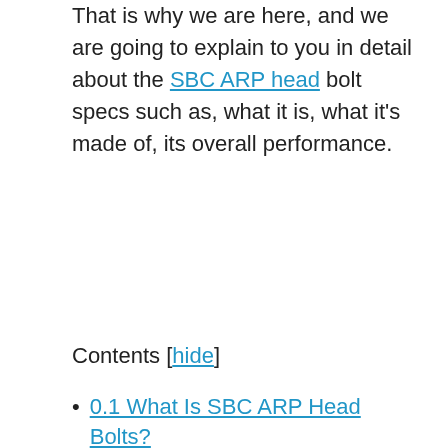That is why we are here, and we are going to explain to you in detail about the SBC ARP head bolt specs such as, what it is, what it's made of, its overall performance.
Contents [hide]
0.1 What Is SBC ARP Head Bolts?
0.2 Why Are ARP Head Bolts...